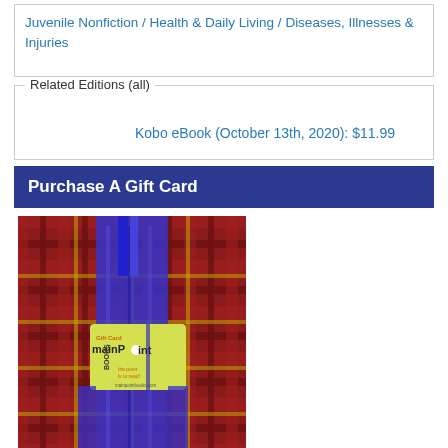Juvenile Nonfiction / Health & Daily Living / Diseases, Illnesses & Injuries
Related Editions (all)
Kobo eBook (October 13th, 2020): $11.99
Purchase A Gift Card
[Figure (photo): A mainPoint Books gift card (yellow card with mainPoint Books branding) displayed in a blue gift bag on a plaid/tartan fabric background]